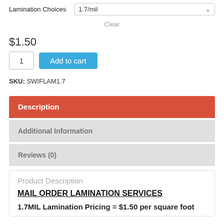Lamination Choices  1.7/mil
Clear
$1.50
1  Add to cart
SKU: SWIFLAM1.7
Description
Additional Information
Reviews (0)
Product Description
MAIL ORDER LAMINATION SERVICES
1.7MIL Lamination Pricing = $1.50 per square foot